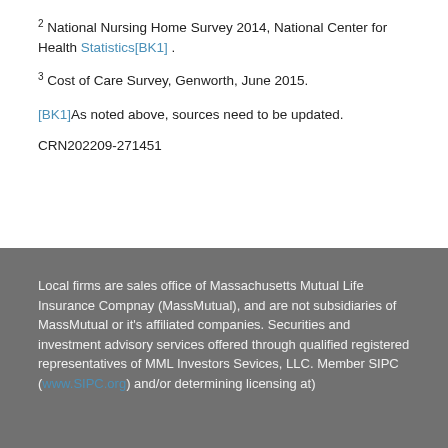2 National Nursing Home Survey 2014, National Center for Health Statistics[BK1] .
3 Cost of Care Survey, Genworth, June 2015.
[BK1]As noted above, sources need to be updated.
CRN202209-271451
Local firms are sales office of Massachusetts Mutual Life Insurance Compnay (MassMutual), and are not subsidiaries of MassMutual or it's affiliated companies. Securities and investment advisory services offered through qualified registered representatives of MML Investors Sevices, LLC. Member SIPC (www.SIPC.org) and/or determining licensing at)